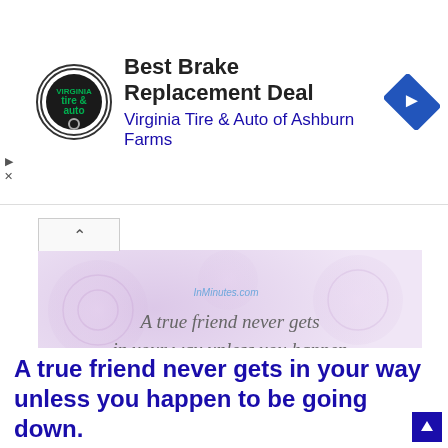[Figure (screenshot): Advertisement banner for Virginia Tire & Auto of Ashburn Farms with logo, title 'Best Brake Replacement Deal', and navigation icon]
[Figure (illustration): Quote image with purple rose background showing text: 'A true friend never gets in your way unless you happen to be going down.' attributed to Arnold H. Glasow, with InMinutes.com watermark]
A true friend never gets in your way unless you happen to be going down.